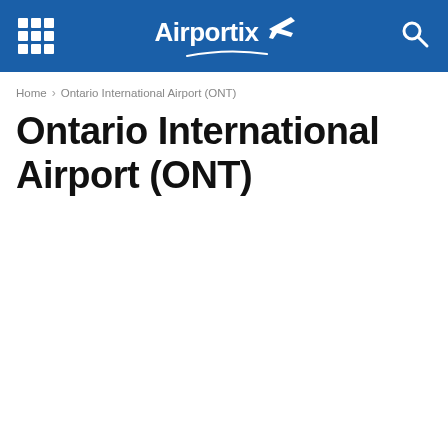Airportix [logo with airplane icon]
Home › Ontario International Airport (ONT)
Ontario International Airport (ONT)